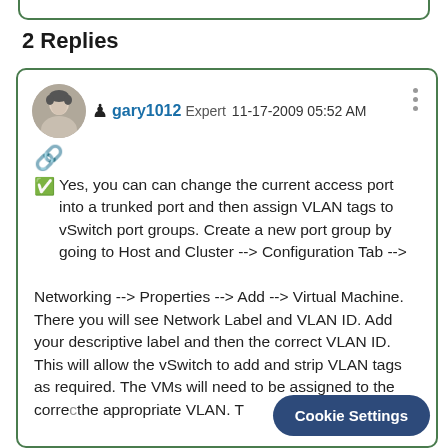2 Replies
gary1012  Expert  11-17-2009 05:52 AM
☑ Yes, you can can change the current access port into a trunked port and then assign VLAN tags to vSwitch port groups. Create a new port group by going to Host and Cluster --> Configuration Tab -->

Networking --> Properties --> Add --> Virtual Machine. There you will see Network Label and VLAN ID. Add your descriptive label and then the correct VLAN ID. This will allow the vSwitch to add and strip VLAN tags as required. The VMs will need to be assigned to the correct port group for the appropriate VLAN. T
Cookie Settings